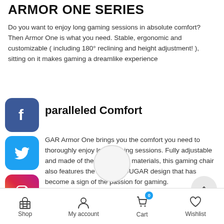ARMOR ONE SERIES
Do you want to enjoy long gaming sessions in absolute comfort? Then Armor One is what you need. Stable, ergonomic and customizable ( including 180° reclining and height adjustment! ), sitting on it makes gaming a dreamlike experience
[Figure (logo): Facebook social media icon - blue rounded square with white 'f' letter]
Unparalleled Comfort
[Figure (logo): Twitter social media icon - blue rounded square with white bird logo]
COUGAR Armor One brings you the comfort you need to thoroughly enjoy long gaming sessions. Fully adjustable and made of the best quality materials, this gaming chair also features the unique COUGAR design that has become a sign of the passion for gaming.
[Figure (logo): Instagram social media icon - gradient rounded square with camera outline]
[Figure (logo): YouTube social media icon - red rounded square with white play button]
Body-embracing High Back Design
Endowed with an ergonomic design especially for game COUGAR Armor One has...
Shop   My account   Cart 0   Wishlist